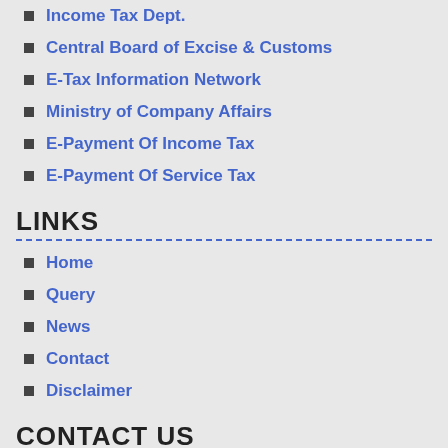Income Tax Dept.
Central Board of Excise & Customs
E-Tax Information Network
Ministry of Company Affairs
E-Payment Of Income Tax
E-Payment Of Service Tax
LINKS
Home
Query
News
Contact
Disclaimer
CONTACT US
Head Office:
304-306, Sterling Point, Waghawadi Road, Above HDFC Bank, Bhavnagar, Gujarat - 364002.
Phone: 0278-2567020 / 0278-6549156